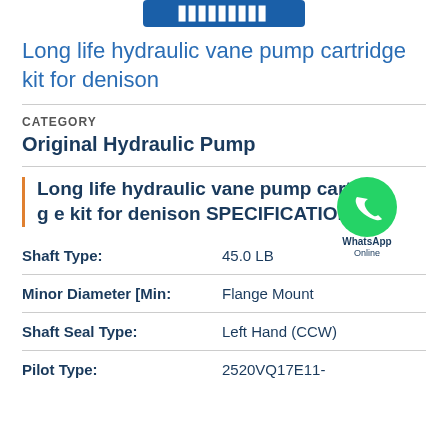Long life hydraulic vane pump cartridge kit for denison
CATEGORY
Original Hydraulic Pump
Long life hydraulic vane pump cartridge kit for denison SPECIFICATIONS
| Attribute | Value |
| --- | --- |
| Shaft Type: | 45.0 LB |
| Minor Diameter [Min: | Flange Mount |
| Shaft Seal Type: | Left Hand (CCW) |
| Pilot Type: | 2520VQ17E11- |